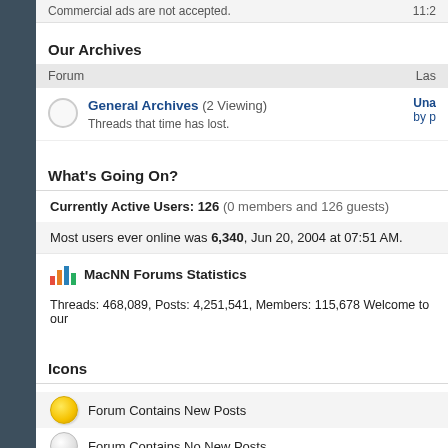Commercial ads are not accepted.
Our Archives
| Forum | Las |
| --- | --- |
| General Archives (2 Viewing) Threads that time has lost. | Una by p |
What's Going On?
Currently Active Users: 126 (0 members and 126 guests)
Most users ever online was 6,340, Jun 20, 2004 at 07:51 AM.
MacNN Forums Statistics
Threads: 468,089, Posts: 4,251,541, Members: 115,678 Welcome to our
Icons
Forum Contains New Posts
Forum Contains No New Posts
Forum is Closed for Posting